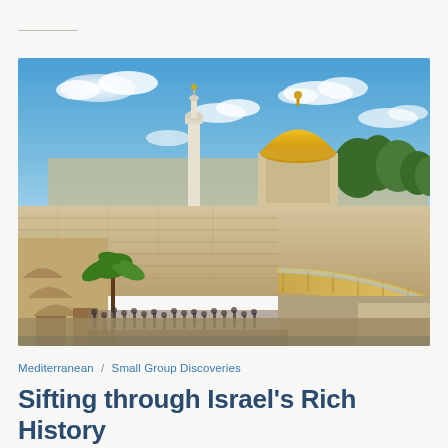[Figure (photo): Photograph of Jerusalem showing the Western Wall plaza with crowds of visitors, the Dome of the Rock with its distinctive golden dome, a white minaret, stone walls, a covered walkway/bridge, palm trees, and a bright blue sky with scattered clouds.]
Mediterranean  /  Small Group Discoveries
Sifting through Israel's Rich History